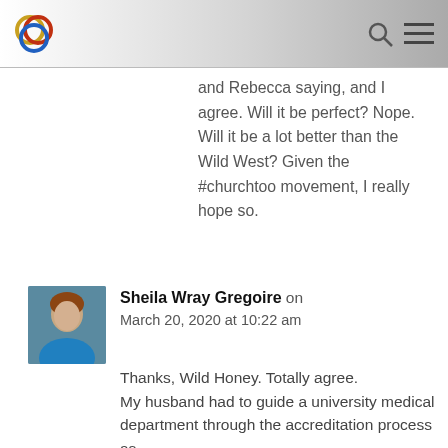[Figure (logo): Circular logo with overlapping rings in gold, red, and blue]
and Rebecca saying, and I agree. Will it be perfect? Nope. Will it be a lot better than the Wild West? Given the #churchtoo movement, I really hope so.
Sheila Wray Gregoire on March 20, 2020 at 10:22 am
Thanks, Wild Honey. Totally agree.
My husband had to guide a university medical department through the accreditation process as